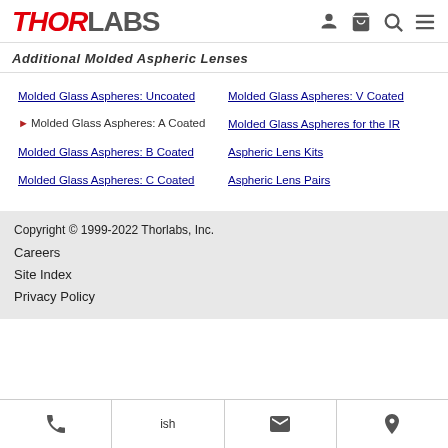THORLABS
Additional Molded Aspheric Lenses
Molded Glass Aspheres: Uncoated
Molded Glass Aspheres: V Coated
Molded Glass Aspheres: A Coated
Molded Glass Aspheres for the IR
Molded Glass Aspheres: B Coated
Aspheric Lens Kits
Molded Glass Aspheres: C Coated
Aspheric Lens Pairs
Copyright © 1999-2022 Thorlabs, Inc.
Careers
Site Index
Privacy Policy